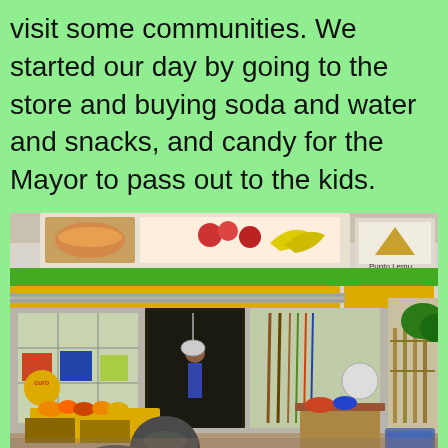visit some communities. We started our day by going to the store and buying soda and water and snacks, and candy for the Mayor to pass out to the kids.
[Figure (photo): A storefront in what appears to be an African town. The store has green and yellow facade with display windows showing goods. Food advertisement banners are visible above. Motorcycles and market stalls are in the foreground. A sign reading 'Punto Lemu' or similar is visible on the right.]